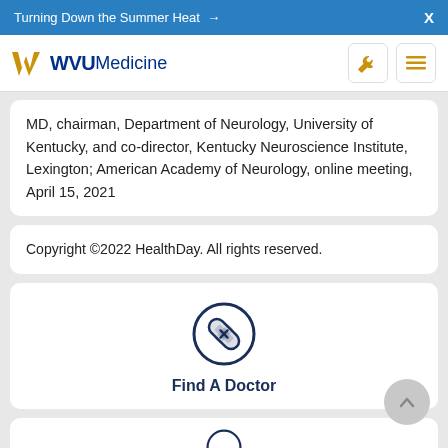Turning Down the Summer Heat →   X
[Figure (logo): WVU Medicine logo with flying WV in gold, WVU in dark blue, Medicine in dark blue]
MD, chairman, Department of Neurology, University of Kentucky, and co-director, Kentucky Neuroscience Institute, Lexington; American Academy of Neurology, online meeting, April 15, 2021
Copyright ©2022 HealthDay. All rights reserved.
[Figure (illustration): Find A Doctor icon: bandage cross symbol inside a dark blue circle, with text 'Find A Doctor' below]
[Figure (illustration): Partial circular icon visible at bottom of page]